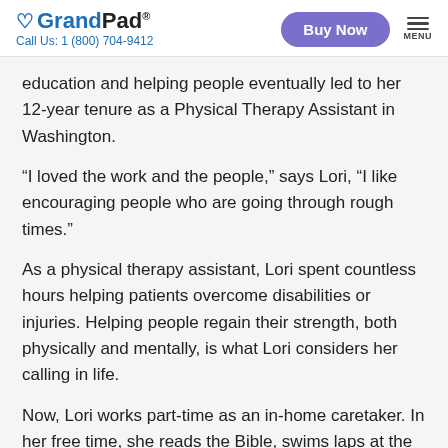GrandPad | Call Us: 1 (800) 704-9412 | Buy Now | MENU
education and helping people eventually led to her 12-year tenure as a Physical Therapy Assistant in Washington.
“I loved the work and the people,” says Lori, “I like encouraging people who are going through rough times.”
As a physical therapy assistant, Lori spent countless hours helping patients overcome disabilities or injuries. Helping people regain their strength, both physically and mentally, is what Lori considers her calling in life.
Now, Lori works part-time as an in-home caretaker. In her free time, she reads the Bible, swims laps at the community pool, and sings in